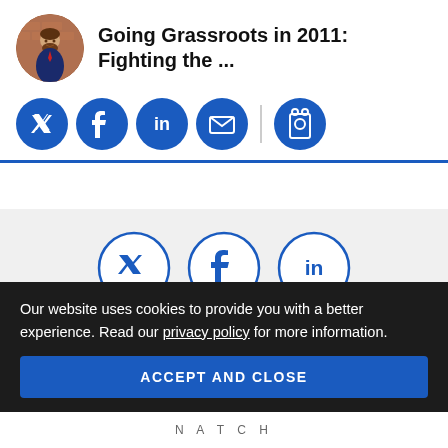[Figure (photo): Circular avatar photo of a man with a beard wearing a suit, against a brick wall background]
Going Grassroots in 2011: Fighting the ...
[Figure (infographic): Row of filled blue circular social media icons: Twitter, Facebook, LinkedIn, Email, and Print with a vertical divider before print]
[Figure (infographic): Row of outlined blue circular social media icons on gray background: Twitter, Facebook, LinkedIn, followed by a partial Subscribe button circle]
Our website uses cookies to provide you with a better experience. Read our privacy policy for more information.
ACCEPT AND CLOSE